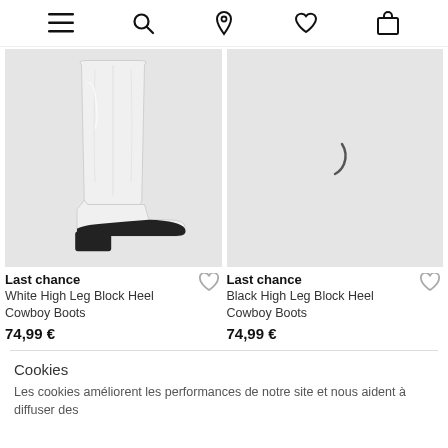Navigation bar with menu, search, location, wishlist, and cart icons
[Figure (photo): White High Leg Block Heel Cowboy Boot on light grey background]
[Figure (photo): Loading spinner on light grey background, product image not yet loaded]
Last chance
White High Leg Block Heel Cowboy Boots
74,99 €
Last chance
Black High Leg Block Heel Cowboy Boots
74,99 €
Cookies
Les cookies améliorent les performances de notre site et nous aident à diffuser des